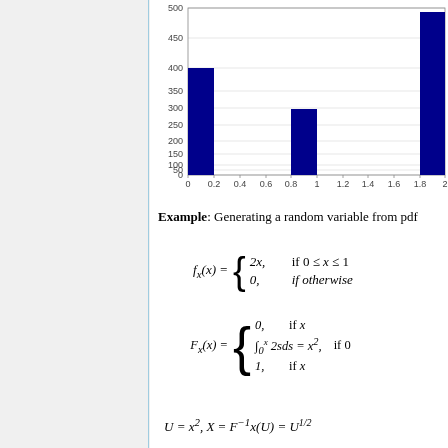[Figure (histogram): ]
Example: Generating a random variable from pdf